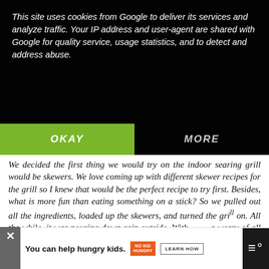This site uses cookies from Google to deliver its services and analyze traffic. Your IP address and user-agent are shared with Google for quality service, usage statistics, and to detect and address abuse.
OKAY
MORE
We decided the first thing we would try on the indoor searing grill would be skewers. We love coming up with different skewer recipes for the grill so I knew that would be the perfect recipe to try first. Besides, what is more fun than eating something on a stick? So we pulled out all the ingredients, loaded up the skewers, and turned the grill on. All the while, it was pouring down rain outside. With no worry of all the rain outside, we were grilling. Turns out, I had just been waiting for this grill to into our lives and it is THE one!
My Latest Videos
WHAT'S NEXT → Hawaiian Macaroni...
You can help hungry kids. NO KID HUNGRY LEARN HOW